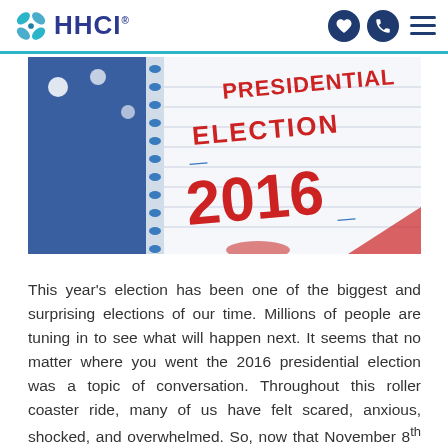HHCI
[Figure (photo): Notebook with 'Presidential Election 2016' written in red and blue text, with an American flag in the background]
This year's election has been one of the biggest and surprising elections of our time. Millions of people are tuning in to see what will happen next. It seems that no matter where you went the 2016 presidential election was a topic of conversation. Throughout this roller coaster ride, many of us have felt scared, anxious, shocked, and overwhelmed. So, now that November 8th has come and